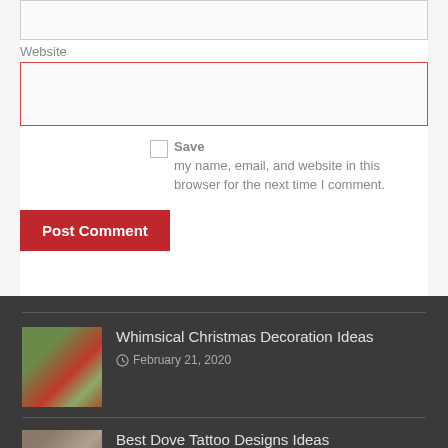Website
Save my name, email, and website in this browser for the next time I comment.
Post Comment
Whimsical Christmas Decoration Ideas
February 21, 2020
Best Dove Tattoo Designs Ideas
August 17, 2020